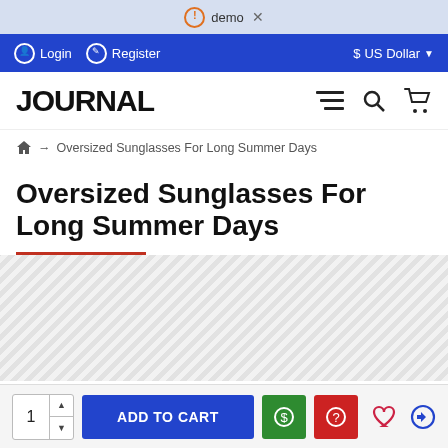demo
Login  Register  $ US Dollar
JOURNAL
⌂ → Oversized Sunglasses For Long Summer Days
Oversized Sunglasses For Long Summer Days
[Figure (screenshot): Diagonal striped placeholder area for product image]
1  ADD TO CART